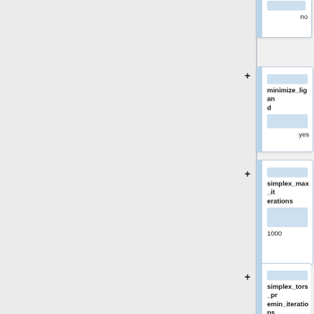no
minimize_ligand
yes
simplex_max_iterations
1000
simplex_tors_premin_iterations
0
simplex_max_cycles
1